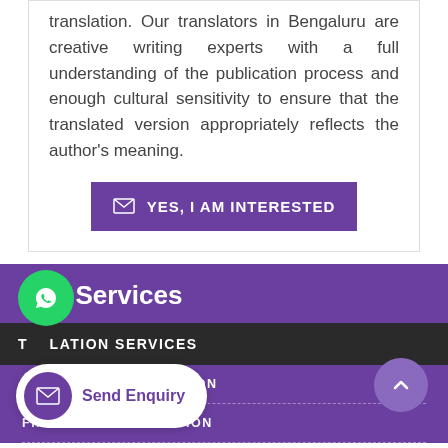translation. Our translators in Bengaluru are creative writing experts with a full understanding of the publication process and enough cultural sensitivity to ensure that the translated version appropriately reflects the author's meaning.
YES, I AM INTERESTED
Our Services
TRANSLATION SERVICES
TECHNICAL TRANSLATION
FINANCIAL TRANSLATION
Send Enquiry